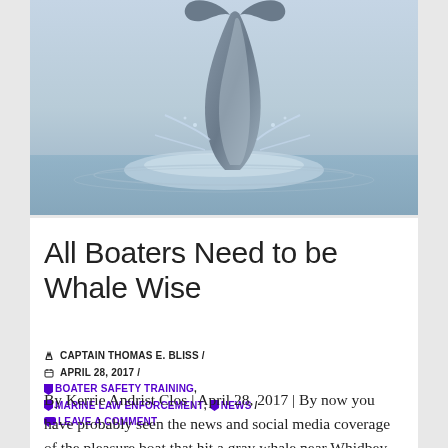[Figure (photo): A whale breaching out of the ocean water, shown mid-leap with its body and tail visible against a light blue-gray sky and splashing water below.]
All Boaters Need to be Whale Wise
✏ CAPTAIN THOMAS E. BLISS / 📅 APRIL 28, 2017 / 🏷 BOATER SAFETY TRAINING, 🏷 MARINE LAW ENFORCEMENT, 🏷 NEWS / 💬 LEAVE A COMMENT
By Kerrie Andrist Clos | April 28, 2017 | By now you have probably seen the news and social media coverage of the pleasure boat that hit a gray whale near Whidbey Island on Sunday